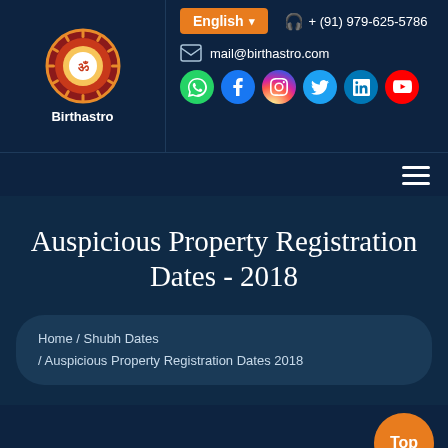[Figure (logo): Birthastro logo with circular emblem and text below]
English  + (91) 979-625-5786  mail@birthastro.com
[Figure (infographic): Social media icons: WhatsApp, Facebook, Instagram, Twitter, LinkedIn, YouTube]
Auspicious Property Registration Dates - 2018
Home / Shubh Dates / Auspicious Property Registration Dates 2018